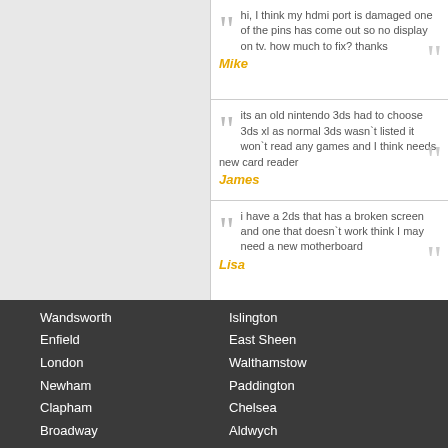hi, I think my hdmi port is damaged one of the pins has come out so no display on tv. how much to fix? thanks
Mike
its an old nintendo 3ds had to choose 3ds xl as normal 3ds wasn`t listed it won`t read any games and I think needs new card reader
James
i have a 2ds that has a broken screen and one that doesn`t work think I may need a new motherboard
Lisa
Wandsworth
Enfield
London
Newham
Clapham
Broadway
Islington
East Sheen
Walthamstow
Paddington
Chelsea
Aldwych